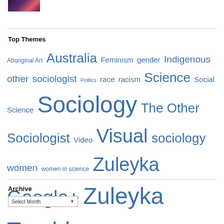[Figure (photo): Small thumbnail image with dark purple and pink gradient, possibly a blog header image]
Top Themes
Aboriginal Art Australia Feminism gender Indigenous other sociologist Politics race racism Science Social Science Sociology The Other Sociologist Video Visual sociology women women in science Zuleyka Google+ Zuleyka Tumblr
Archive
Select Month